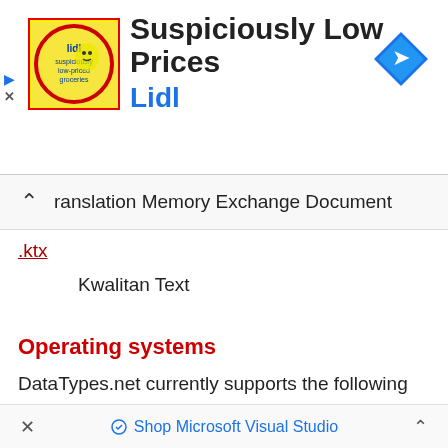[Figure (illustration): Lidl advertisement banner with Lidl logo (yellow background with red Lidl text and mascot), headline 'Suspiciously Low Prices', brand name 'Lidl' in blue, and a blue navigation diamond icon on the right. Small play and close icons on the left edge.]
Translation Memory Exchange Document
.ktx
Kwalitan Text
Operating systems
DataTypes.net currently supports the following operating systems:
Windows XP/Vista, Windows 7/8, Windows 10, CentOS, Debian, GNU/Linux, Ubuntu, Linux, Free BSD, Mac OS X...
[Figure (screenshot): Bottom browser ad bar showing 'Shop Microsoft Visual Studio' with close X on left and chevron up on right]